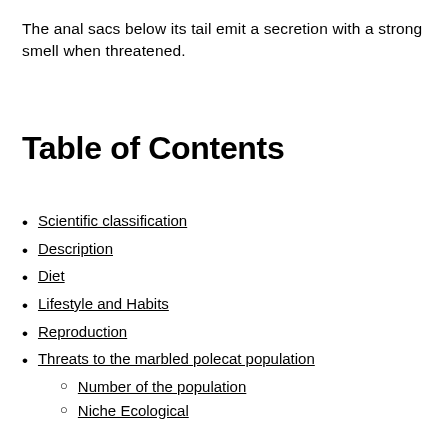The anal sacs below its tail emit a secretion with a strong smell when threatened.
Table of Contents
Scientific classification
Description
Diet
Lifestyle and Habits
Reproduction
Threats to the marbled polecat population
Number of the population
Niche Ecological